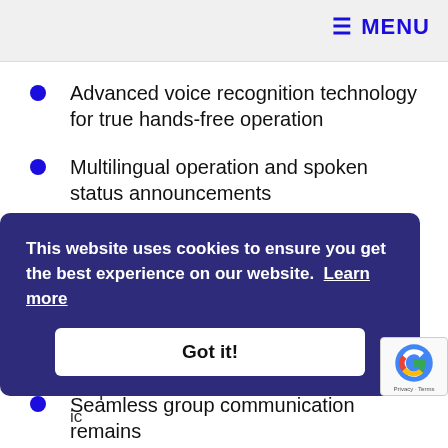≡ MENU
Advanced voice recognition technology for true hands-free operation
Multilingual operation and spoken status announcements
High quality A2DP streaming
FM radio with RDS and six station built-in presets
Seamless group communication remains
This website uses cookies to ensure you get the best experience on our website. Learn more
Got it!